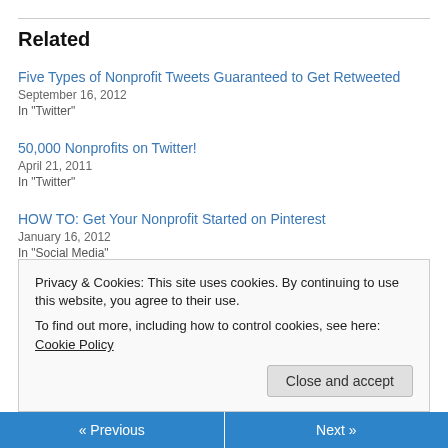Related
Five Types of Nonprofit Tweets Guaranteed to Get Retweeted
September 16, 2012
In "Twitter"
50,000 Nonprofits on Twitter!
April 21, 2011
In "Twitter"
HOW TO: Get Your Nonprofit Started on Pinterest
January 16, 2012
In "Social Media"
Privacy & Cookies: This site uses cookies. By continuing to use this website, you agree to their use.
To find out more, including how to control cookies, see here: Cookie Policy
« Previous   Next »